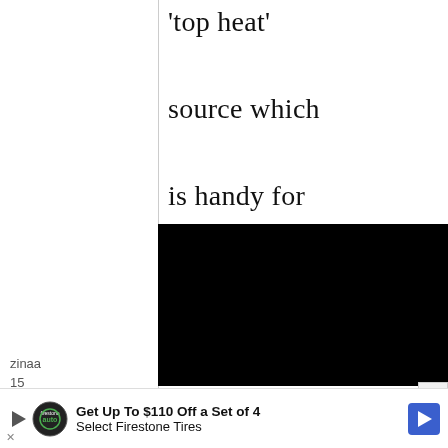'top heat' source which is handy for broiling small quantities, e.g.
[Figure (other): Black overlay block covering lower portion of main text area]
Hello Maki!
zinaa
15
January,
[Figure (other): Advertisement banner: Get Up To $110 Off a Set of 4 Select Firestone Tires with play button, Firestone auto logo, and blue arrow icon]